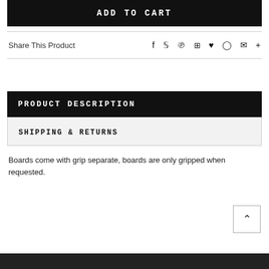ADD TO CART
Share This Product
PRODUCT DESCRIPTION
SHIPPING & RETURNS
Boards come with grip separate, boards are only gripped when requested.